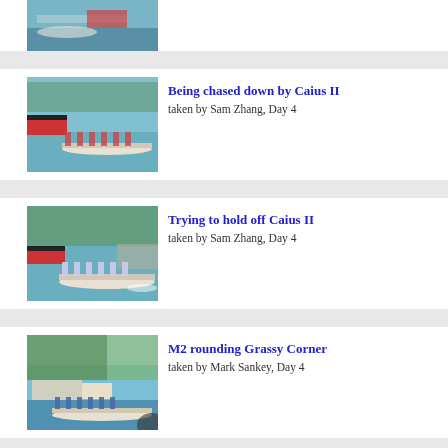[Figure (photo): Partial rowing photo at top of page — boats on river]
[Figure (photo): Rowing crew boat being chased on river, red narrowboat visible]
Being chased down by Caius II
taken by Sam Zhang, Day 4
[Figure (photo): Rowing crew boat trying to hold off another on river]
Trying to hold off Caius II
taken by Sam Zhang, Day 4
[Figure (photo): M2 rowing boat rounding Grassy Corner]
M2 rounding Grassy Corner
taken by Mark Sankey, Day 4
[Figure (photo): Partial rowing photo at bottom of page]